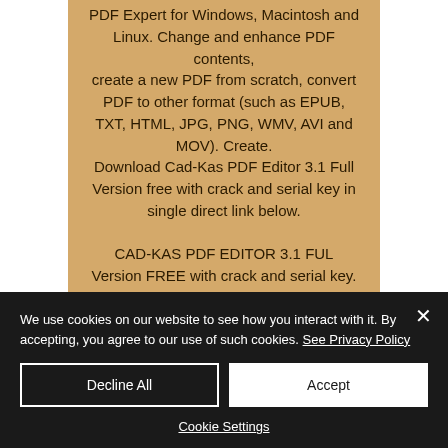PDF Expert for Windows, Macintosh and Linux. Change and enhance PDF contents, create a new PDF from scratch, convert PDF to other format (such as EPUB, TXT, HTML, JPG, PNG, WMV, AVI and MOV). Create. Download Cad-Kas PDF Editor 3.1 Full Version free with crack and serial key in single direct link below.
CAD-KAS PDF EDITOR 3.1 FUL Version FREE with crack and serial key. CAD-
We use cookies on our website to see how you interact with it. By accepting, you agree to our use of such cookies. See Privacy Policy
Decline All
Accept
Cookie Settings